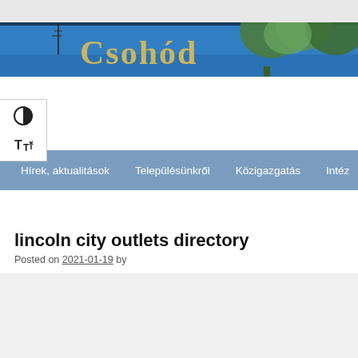[Figure (photo): Website header banner showing a blue sky background with green trees and gold serif text reading 'Csohód' (partially visible)]
[Figure (screenshot): Accessibility toolbar with contrast toggle icon (half-filled circle) and text size increase icon (T with arrow)]
Hírek, aktualitások   Településünkről   Közigazgatás   Intéz
lincoln city outlets directory
Posted on 2021-01-19 by